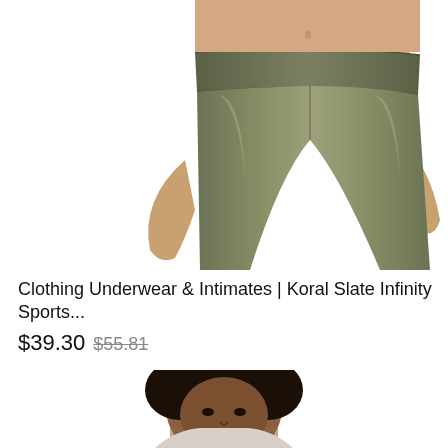[Figure (photo): Woman wearing olive/slate green shiny faux-leather high-waist leggings, cropped at mid-thigh, white background]
Clothing Underwear & Intimates | Koral Slate Infinity Sports...
$39.30 $55.81
[Figure (photo): Woman with short natural hair, light top, cropped at shoulders, white background]